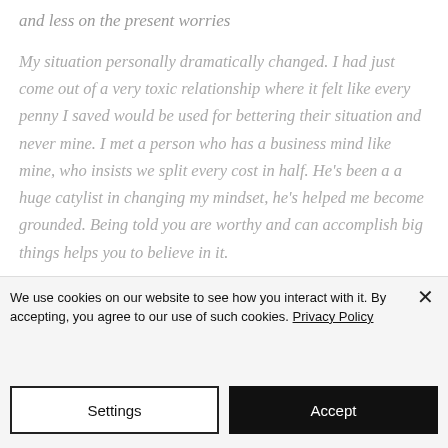and less on the present worries
My situation personally dramatically changed. I had just come out of a very toxic relationship where it felt like every penny I saved would be used for bettering their situation and never mine. I met a person who has a business mind like mine, who insists we split every cost in half. He's been a a huge catylist in changing my mindset, he's helped me become grounded. Being told you are worthy and can accomplish big things helps you to believe in it.
We use cookies on our website to see how you interact with it. By accepting, you agree to our use of such cookies. Privacy Policy